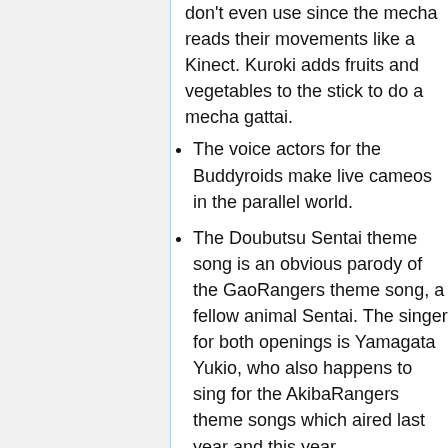don't even use since the mecha reads their movements like a Kinect. Kuroki adds fruits and vegetables to the stick to do a mecha gattai.
The voice actors for the Buddyroids make live cameos in the parallel world.
The Doubutsu Sentai theme song is an obvious parody of the GaoRangers theme song, a fellow animal Sentai. The singer for both openings is Yamagata Yukio, who also happens to sing for the AkibaRangers theme songs which aired last year and this year.
Pink Cat's costume is the same as Pink Buster's from the real Go-Buster world. However, Pink Cat turns out to be Hiromu's sister in the parallel universe.